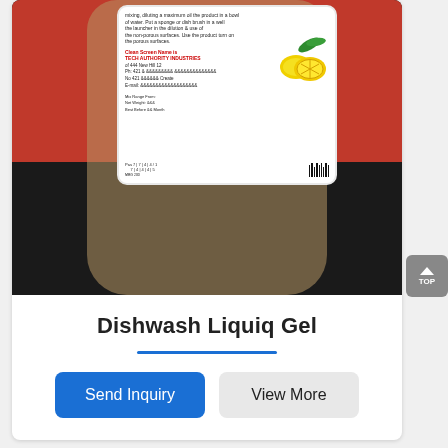[Figure (photo): A large plastic bottle of Dishwash Liquiq Gel with a white product label featuring lemon graphics and text, set against a red cloth background with a dark surface at the bottom.]
Dishwash Liquiq Gel
[Figure (other): Two buttons: a blue 'Send Inquiry' button and a grey 'View More' button]